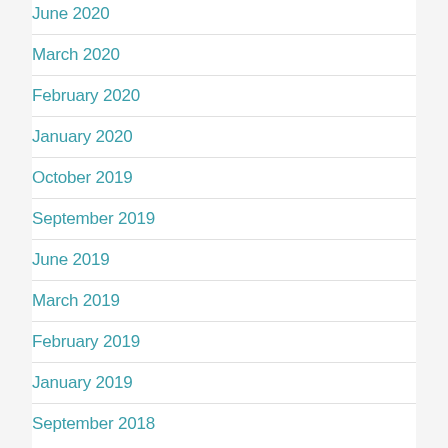June 2020
March 2020
February 2020
January 2020
October 2019
September 2019
June 2019
March 2019
February 2019
January 2019
September 2018